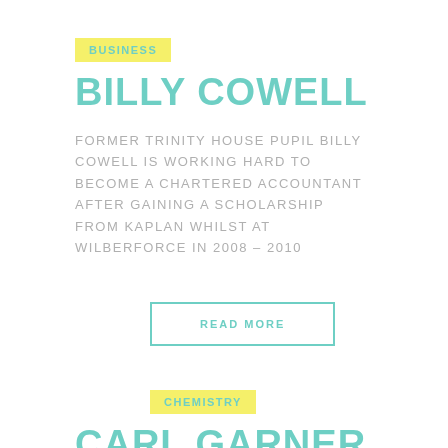BUSINESS
BILLY COWELL
FORMER TRINITY HOUSE PUPIL BILLY COWELL IS WORKING HARD TO BECOME A CHARTERED ACCOUNTANT AFTER GAINING A SCHOLARSHIP FROM KAPLAN WHILST AT WILBERFORCE IN 2008 – 2010
READ MORE
CHEMISTRY
CARL GARNER